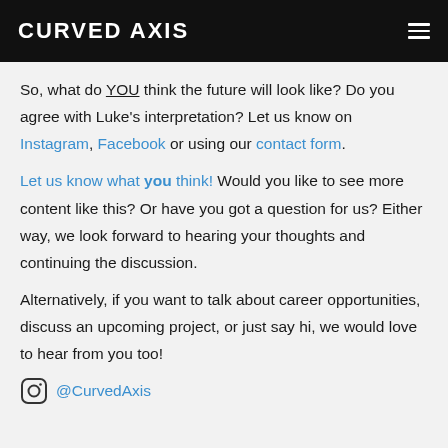CURVED AXIS
So, what do YOU think the future will look like? Do you agree with Luke's interpretation? Let us know on Instagram, Facebook or using our contact form.
Let us know what you think! Would you like to see more content like this? Or have you got a question for us? Either way, we look forward to hearing your thoughts and continuing the discussion.
Alternatively, if you want to talk about career opportunities, discuss an upcoming project, or just say hi, we would love to hear from you too!
[Figure (logo): Instagram icon with @CurvedAxis handle]